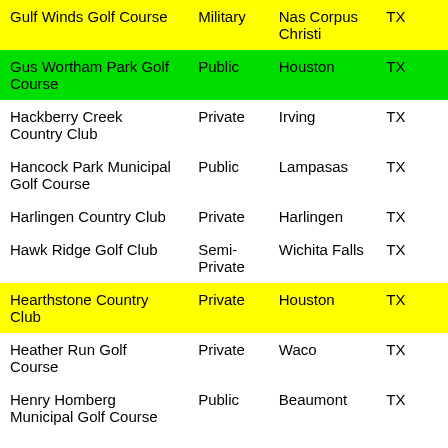| Name | Type | City | State |
| --- | --- | --- | --- |
| Gulf Winds Golf Course | Military | Nas Corpus Christi | TX |
| Gus Wortham Park Golf Course | Public | Houston | TX |
| Hackberry Creek Country Club | Private | Irving | TX |
| Hancock Park Municipal Golf Course | Public | Lampasas | TX |
| Harlingen Country Club | Private | Harlingen | TX |
| Hawk Ridge Golf Club | Semi-Private | Wichita Falls | TX |
| Hearthstone Country Club | Private | Houston | TX |
| Heather Run Golf Course | Private | Waco | TX |
| Henry Homberg Municipal Golf Course | Public | Beaumont | TX |